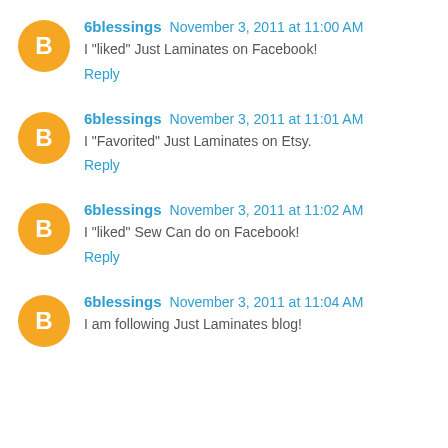6blessings November 3, 2011 at 11:00 AM
I "liked" Just Laminates on Facebook!
Reply
6blessings November 3, 2011 at 11:01 AM
I "Favorited" Just Laminates on Etsy.
Reply
6blessings November 3, 2011 at 11:02 AM
I "liked" Sew Can do on Facebook!
Reply
6blessings November 3, 2011 at 11:04 AM
I am following Just Laminates blog!